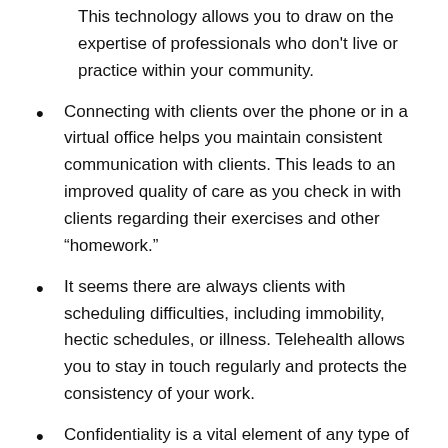This technology allows you to draw on the expertise of professionals who don't live or practice within your community.
Connecting with clients over the phone or in a virtual office helps you maintain consistent communication with clients. This leads to an improved quality of care as you check in with clients regarding their exercises and other “homework.”
It seems there are always clients with scheduling difficulties, including immobility, hectic schedules, or illness. Telehealth allows you to stay in touch regularly and protects the consistency of your work.
Confidentiality is a vital element of any type of therapy. Modern technology provides safe ways to share sensitive information without leaving it open to accidental exposure. Whether this means completing assessments